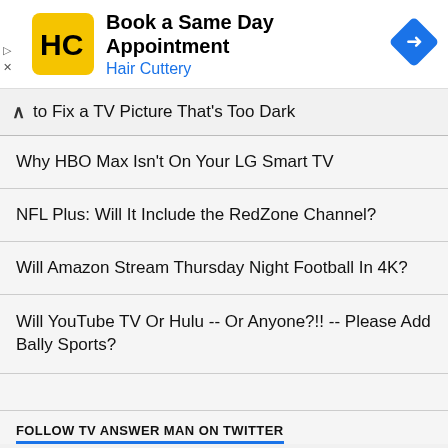[Figure (logo): Hair Cuttery advertisement banner with HC logo, 'Book a Same Day Appointment' title, 'Hair Cuttery' subtitle in blue, and a blue navigation arrow icon]
to Fix a TV Picture That's Too Dark
Why HBO Max Isn't On Your LG Smart TV
NFL Plus: Will It Include the RedZone Channel?
Will Amazon Stream Thursday Night Football In 4K?
Will YouTube TV Or Hulu -- Or Anyone?!! -- Please Add Bally Sports?
FOLLOW TV ANSWER MAN ON TWITTER